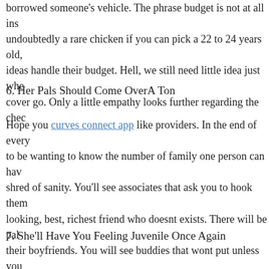borrowed someone's vehicle. The phrase budget is not at all ins undoubtedly a rare chicken if you can pick a 22 to 24 years old, ideas handle their budget. Hell, we still need little idea just whe cover go. Only a little empathy looks further regarding the chec
6. Her Pals Should Come OverA Ton
Hope you curves connect app like providers. In the end of every to be wanting to know the number of family one person can hav shred of sanity. You'll see associates that ask you to hook them looking, best, richest friend who doesnt exists. There will be pal their boyfriends. You will see buddies that wont put unless you see relatives over-all TIME. Only pull a hello, i must produce a move portray video game titles until they write, or even worse, person trying to play game titles all by yourself in bed and insis societal. do not inform me about simple companies, devil lady!
7. She'll Have You Feeling Juvenile Once Again